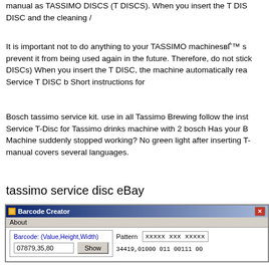manual as TASSIMO DISCS (T DISCS). When you insert the T DIS DISC and the cleaning /
It is important not to do anything to your TASSIMO machines’ s prevent it from being used again in the future. Therefore, do not stick DISCs) When you insert the T DISC, the machine automatically rea Service T DISC b Short instructions for
Bosch tassimo service kit. use in all Tassimo Brewing follow the inst Service T-Disc for Tassimo drinks machine with 2 bosch Has your B Machine suddenly stopped working? No green light after inserting T- manual covers several languages.
tassimo service disc eBay
[Figure (screenshot): Screenshot of a Barcode Creator application window showing fields for barcode value (07879,35,80), a Show button, Pattern field with 'xxxxx xxx xxxxx xx', and a code field showing '34419,01000 011 00111 00']